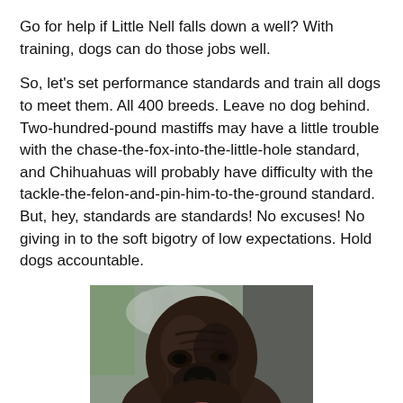Go for help if Little Nell falls down a well? With training, dogs can do those jobs well.
So, let's set performance standards and train all dogs to meet them. All 400 breeds. Leave no dog behind. Two-hundred-pound mastiffs may have a little trouble with the chase-the-fox-into-the-little-hole standard, and Chihuahuas will probably have difficulty with the tackle-the-felon-and-pin-him-to-the-ground standard. But, hey, standards are standards! No excuses! No giving in to the soft bigotry of low expectations. Hold dogs accountable.
[Figure (photo): Close-up photograph of a large dark-colored mastiff dog looking upward, with a blurred outdoor background showing people and trees.]